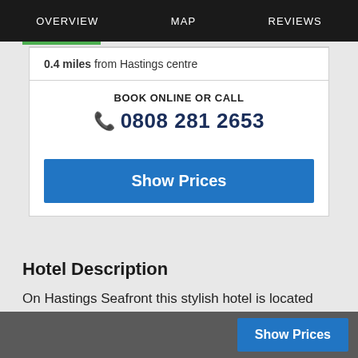OVERVIEW   MAP   REVIEWS
0.4 miles from Hastings centre
BOOK ONLINE OR CALL
0808 281 2653
Show Prices
Hotel Description
On Hastings Seafront this stylish hotel is located next to the White Rock Theater. It features a lively cafe-bar a sun terrace 24-hour front desk and free Wi-Fi access. All rooms
Show Prices